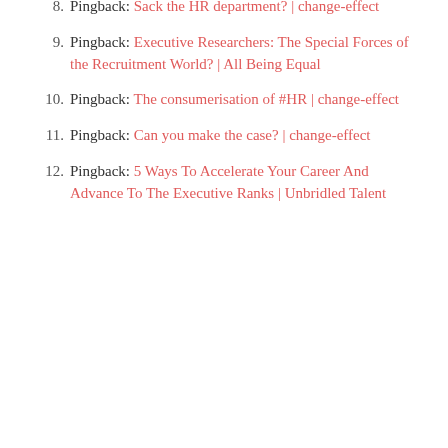8. Pingback: Sack the HR department? | change-effect
9. Pingback: Executive Researchers: The Special Forces of the Recruitment World? | All Being Equal
10. Pingback: The consumerisation of #HR | change-effect
11. Pingback: Can you make the case? | change-effect
12. Pingback: 5 Ways To Accelerate Your Career And Advance To The Executive Ranks | Unbridled Talent